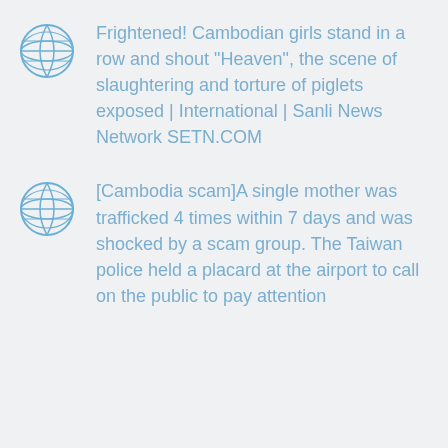Frightened! Cambodian girls stand in a row and shout "Heaven", the scene of slaughtering and torture of piglets exposed | International | Sanli News Network SETN.COM
[Cambodia scam]A single mother was trafficked 4 times within 7 days and was shocked by a scam group. The Taiwan police held a placard at the airport to call on the public to pay attention